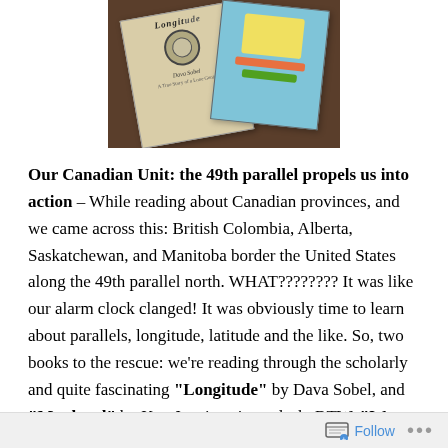[Figure (photo): Photo of books on a dark wooden surface, including a book titled 'Longitude' by Dava Sobel with a clock image on the cover, and another book with a blue cover partially visible.]
Our Canadian Unit: the 49th parallel propels us into action – While reading about Canadian provinces, and we came across this:  British Colombia, Alberta, Saskatchewan, and Manitoba border the United States along the 49th parallel north. WHAT???????? It was like our alarm clock clanged!  It was obviously time to learn about parallels, longitude, latitude and the like.  So, two books to the rescue:  we're reading through the scholarly and quite fascinating "Longitude" by Dava Sobel, and "Maphead" by Ken Jennings is on deck.  BTW, "Wow
Follow ...